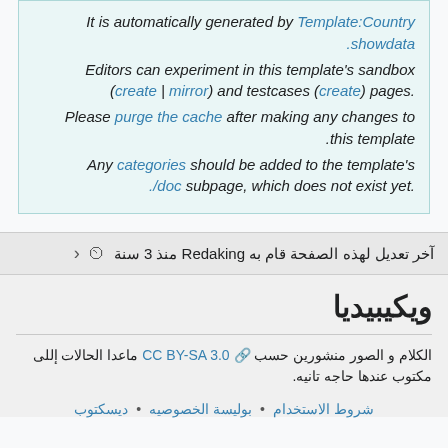It is automatically generated by Template:Country showdata. Editors can experiment in this template's sandbox (create | mirror) and testcases (create) pages. Please purge the cache after making any changes to this template. Any categories should be added to the template's ./doc subpage, which does not exist yet.
آخر تعديل لهذه الصفحة قام به Redaking منذ 3 سنة
ويكيبيديا
الكلام و الصور منشورين حسب CC BY-SA 3.0 ماعدا الحالات إللى مكتوب عندها حاجه تانيه.
شروط الاستخدام • بوليسة الخصوصيه • ديسكتوب